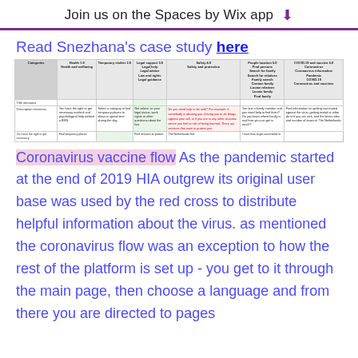Join us on the Spaces by Wix app
Read Snezhana's case study here
[Figure (table-as-image): A small table showing HIA platform categories including Health, Temporary shelter, Legal support, Safety, People location, COVID-19 and vaccine, with title iterations and description iterations rows.]
Coronavirus vaccine flow As the pandemic started at the end of 2019 HIA outgrew its original user base was used by the red cross to distribute helpful information about the virus. as mentioned the coronavirus flow was an exception to how the rest of the platform is set up - you get to it through the main page, then choose a language and from there you are directed to pages